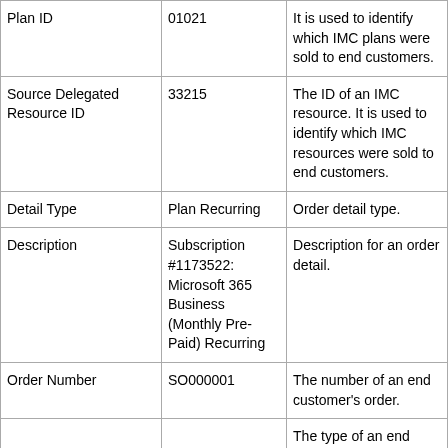| Field | Example | Description |
| --- | --- | --- |
| Plan ID | 01021 | It is used to identify which IMC plans were sold to end customers. |
| Source Delegated Resource ID | 33215 | The ID of an IMC resource. It is used to identify which IMC resources were sold to end customers. |
| Detail Type | Plan Recurring | Order detail type. |
| Description | Subscription #1173522: Microsoft 365 Business (Monthly Pre-Paid) Recurring | Description for an order detail. |
| Order Number | SO000001 | The number of an end customer's order. |
|  |  | The type of an end customer's order. If it is |